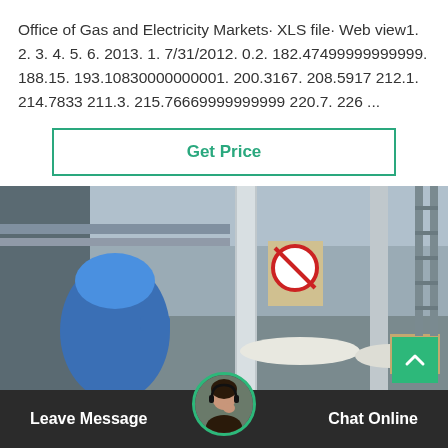Office of Gas and Electricity Markets· XLS file· Web view1. 2. 3. 4. 5. 6. 2013. 1. 7/31/2012. 0.2. 182.47499999999999. 188.15. 193.10830000000001. 200.3167. 208.5917 212.1. 214.7833 211.3. 215.76669999999999 220.7. 226 ...
[Figure (other): Button with teal border and text 'Get Price' in teal color]
[Figure (photo): A worker in blue overalls and blue hard hat working on industrial metal pipes/columns outdoors. A no-smoking sign is visible on a pillar. The background shows an industrial facility.]
Leave Message   Chat Online